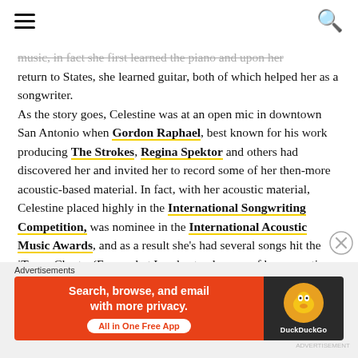[hamburger menu] [search icon]
music, in fact she first learned the piano and upon her return to States, she learned guitar, both of which helped her as a songwriter.
As the story goes, Celestine was at an open mic in downtown San Antonio when Gordon Raphael, best known for his work producing The Strokes, Regina Spektor and others had discovered her and invited her to record some of her then-more acoustic-based material. In fact, with her acoustic material, Celestine placed highly in the International Songwriting Competition, was nominee in the International Acoustic Music Awards, and as a result she's had several songs hit the iTunes Charts. (From what I understand, some of her acoustic material will be released on a 3 song EP, produced by Blake Harnage of VERSA sometime next year.)
In the meantime, her debut EP, which is also slated for
[Figure (screenshot): DuckDuckGo advertisement banner: orange left panel with text 'Search, browse, and email with more privacy. All in One Free App' and dark right panel with DuckDuckGo duck logo]
Advertisements